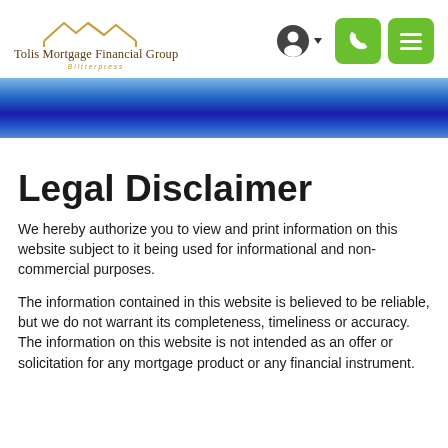[Figure (logo): Tolis Mortgage Financial Group logo with house/roofline icon above the company name]
[Figure (infographic): Navigation header icons: user account icon with dropdown arrow, green phone button, green menu/hamburger button]
[Figure (infographic): Blue gradient banner bar]
Legal Disclaimer
We hereby authorize you to view and print information on this website subject to it being used for informational and non-commercial purposes.
The information contained in this website is believed to be reliable, but we do not warrant its completeness, timeliness or accuracy. The information on this website is not intended as an offer or solicitation for any mortgage product or any financial instrument.